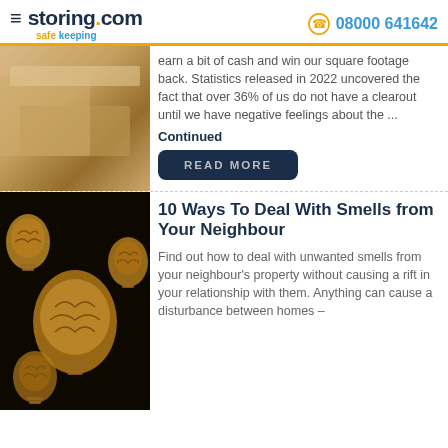storing.com safe keeping | 08000 641642
earn a bit of cash and win our square footage back. Statistics released in 2022 uncovered the fact that over 36% of us do not have a clearout until we have negative feelings about the ... Continued
READ MORE
[Figure (photo): Photo of furniture wrapped in plastic sheeting]
10 Ways To Deal With Smells from Your Neighbour
Find out how to deal with unwanted smells from your neighbour's property without causing a rift in your relationship with them. Anything can cause a disturbance between homes –
[Figure (illustration): Illustration of golden brain light bulbs on dark background]